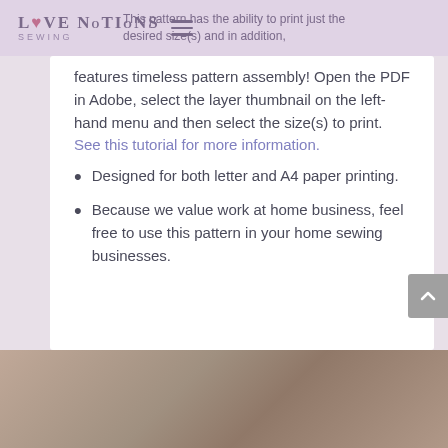Love Notions Sewing
This pattern has the ability to print just the desired size(s) and in addition, features timeless pattern assembly! Open the PDF in Adobe, select the layer thumbnail on the left-hand menu and then select the size(s) to print. See this tutorial for more information.
Designed for both letter and A4 paper printing.
Because we value work at home business, feel free to use this pattern in your home sewing businesses.